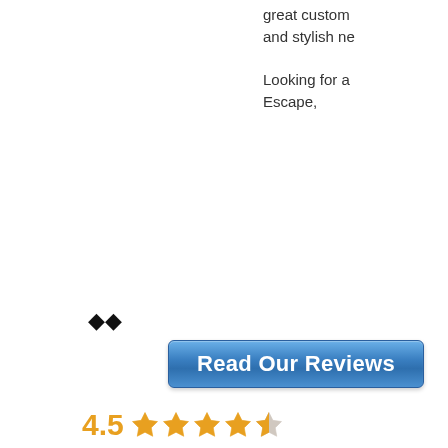great custom and stylish ne
Looking for a Escape,
��
[Figure (other): Blue button with white bold text reading 'Read Our Reviews']
4.5 ★★★★½